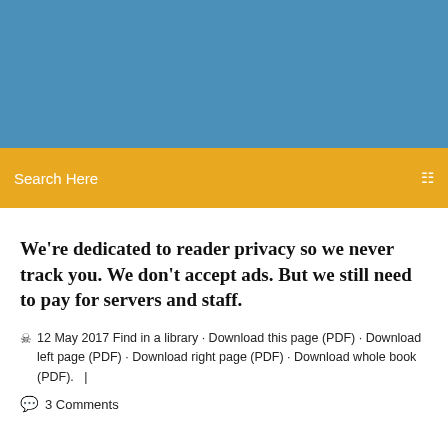[Figure (other): Blue header banner background]
Search Here
We're dedicated to reader privacy so we never track you. We don't accept ads. But we still need to pay for servers and staff.
12 May 2017 Find in a library · Download this page (PDF) · Download left page (PDF) · Download right page (PDF) · Download whole book (PDF).   |
3 Comments